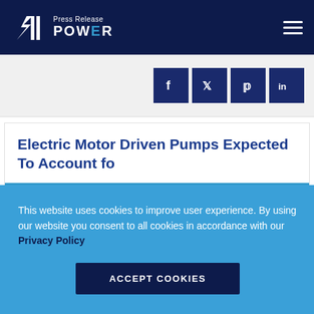Press Release POWER
[Figure (other): Social media share icons: Facebook, Twitter, Pinterest, LinkedIn]
Electric Motor Driven Pumps Expected To Account fo
This website uses cookies to improve user experience. By using our website you consent to all cookies in accordance with our Privacy Policy
ACCEPT COOKIES